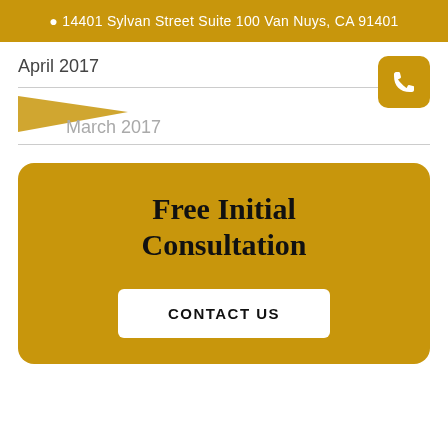14401 Sylvan Street Suite 100 Van Nuys, CA 91401
April 2017
[Figure (other): Gold/dark triangle shape pointing right]
March 2017
Free Initial Consultation
CONTACT US